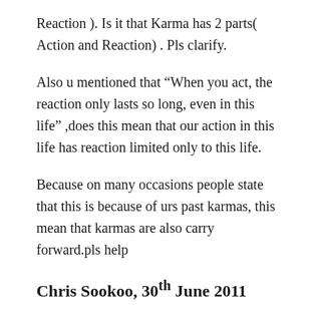Reaction ). Is it that Karma has 2 parts( Action and Reaction) . Pls clarify.
Also u mentioned that “When you act, the reaction only lasts so long, even in this life” ,does this mean that our action in this life has reaction limited only to this life.
Because on many occasions people state that this is because of urs past karmas, this mean that karmas are also carry forward.pls help
Chris Sookoo, 30th June 2011
Sir